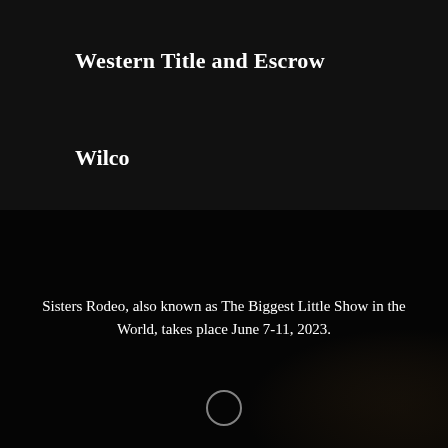Western Title and Escrow
Wilco
[Figure (photo): Dark background image showing a rodeo scene, dimly lit with dark tones throughout the lower half of the page.]
Sisters Rodeo, also known as The Biggest Little Show in the World, takes place June 7-11, 2023.